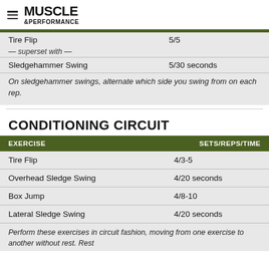MUSCLE & PERFORMANCE
| EXERCISE | SETS/REPS/TIME |
| --- | --- |
| Tire Flip | 5/5 |
| — superset with — |  |
| Sledgehammer Swing | 5/30 seconds |
On sledgehammer swings, alternate which side you swing from on each rep.
CONDITIONING CIRCUIT
| EXERCISE | SETS/REPS/TIME |
| --- | --- |
| Tire Flip | 4/3-5 |
| Overhead Sledge Swing | 4/20 seconds |
| Box Jump | 4/8-10 |
| Lateral Sledge Swing | 4/20 seconds |
Perform these exercises in circuit fashion, moving from one exercise to another without rest. Rest 90 seconds between sets after completing one circuit.